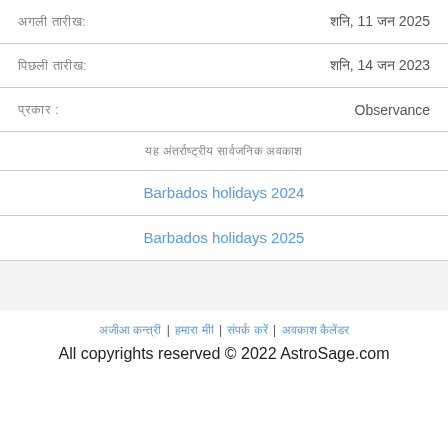| अगली तारीख: | शनि, 11 जन 2025 |
| पिछली तारीख: | शनि, 14 जन 2023 |
| प्रकार : | Observance |
| यह अंतर्राष्ट्रीय सार्वजनिक अवकाश |  |
| Barbados holidays 2024 |  |
| Barbados holidays 2025 |  |
अगली तारीख: | शनि, 14 जन 2023 | अवकाश प्रकार देखें | बारबाडोस छुट्टियां देखें
All copyrights reserved © 2022 AstroSage.com